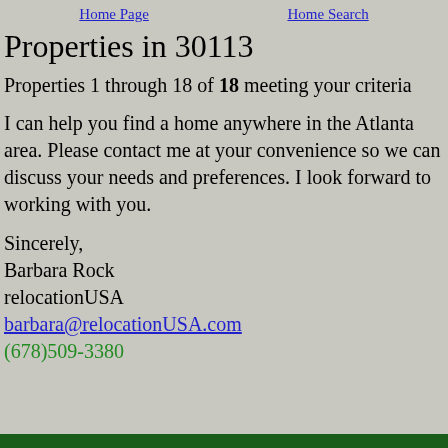Home Page   Home Search
Properties in 30113
Properties 1 through 18 of 18 meeting your criteria
I can help you find a home anywhere in the Atlanta area. Please contact me at your convenience so we can discuss your needs and preferences. I look forward to working with you.
Sincerely,
Barbara Rock
relocationUSA
barbara@relocationUSA.com
(678)509-3380